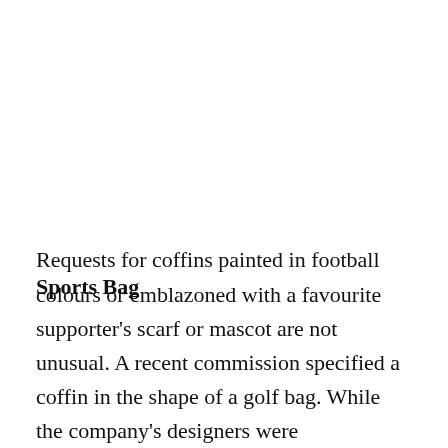Sports Bag
Requests for coffins painted in football colours or emblazoned with a favourite supporter's scarf or mascot are not unusual. A recent commission specified a coffin in the shape of a golf bag. While the company's designers were